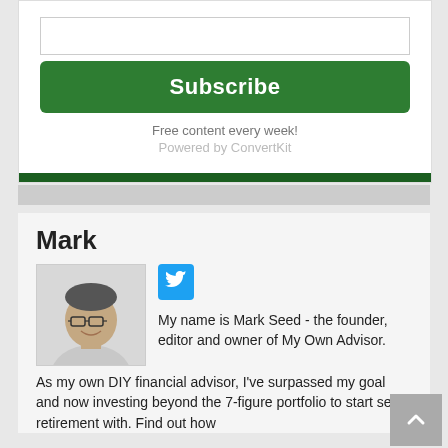[Figure (other): Input text field for email subscription]
Subscribe
Free content every week!
Powered by ConvertKit
Mark
[Figure (photo): Headshot photo of Mark Seed, a man with glasses smiling]
[Figure (logo): Twitter/X social media icon in blue square]
My name is Mark Seed - the founder, editor and owner of My Own Advisor. As my own DIY financial advisor, I've surpassed my goal and now investing beyond the 7-figure portfolio to start semi-retirement with. Find out how